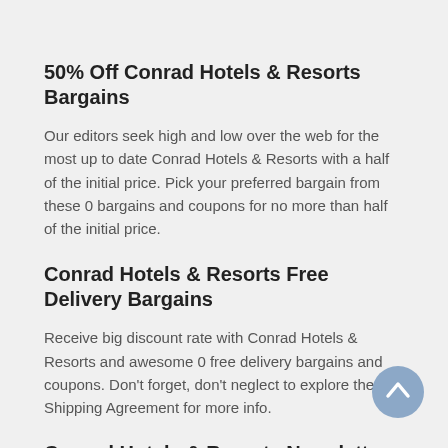50% Off Conrad Hotels & Resorts Bargains
Our editors seek high and low over the web for the most up to date Conrad Hotels & Resorts with a half of the initial price. Pick your preferred bargain from these 0 bargains and coupons for no more than half of the initial price.
Conrad Hotels & Resorts Free Delivery Bargains
Receive big discount rate with Conrad Hotels & Resorts and awesome 0 free delivery bargains and coupons. Don't forget, don't neglect to explore the Shipping Agreement for more info.
Conrad Hotels & Resorts Newsletter Subscription Bargains
Join our mailing list to receive the exclusive Conrad Hotels &